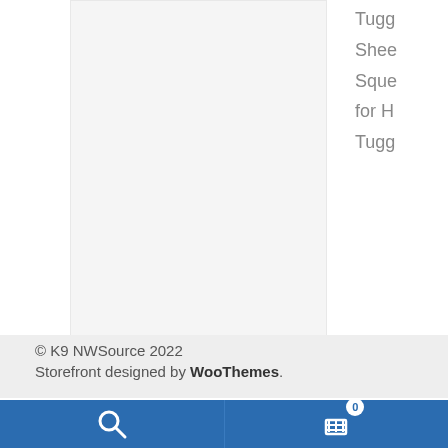[Figure (photo): Product image placeholder box with light gray background]
Tugg
Shee
Sque
for H
Tugg
© K9 NWSource 2022
Storefront designed by WooThemes.